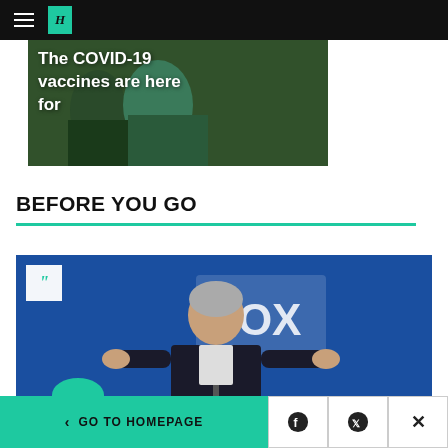HuffPost navigation bar with hamburger menu and logo
[Figure (photo): Image with text overlay reading 'The COVID-19 vaccines are here for']
BEFORE YOU GO
[Figure (photo): Photo of a man in a dark suit speaking at a Fox News event, gesturing with hands, with quote badge overlay]
< GO TO HOMEPAGE | Facebook | Twitter | X